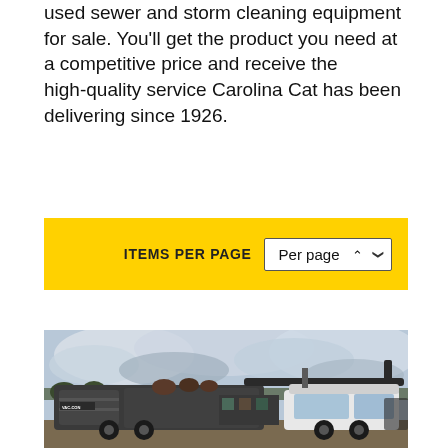used sewer and storm cleaning equipment for sale. You'll get the product you need at a competitive price and receive the high-quality service Carolina Cat has been delivering since 1926.
[Figure (screenshot): Yellow toolbar banner with 'ITEMS PER PAGE' label and a 'Per page' dropdown selector]
[Figure (photo): A VAC-CON combination sewer cleaning truck (dark grey tank body with industrial equipment mounted on top) parked outdoors against a cloudy sky with bare trees in the background]